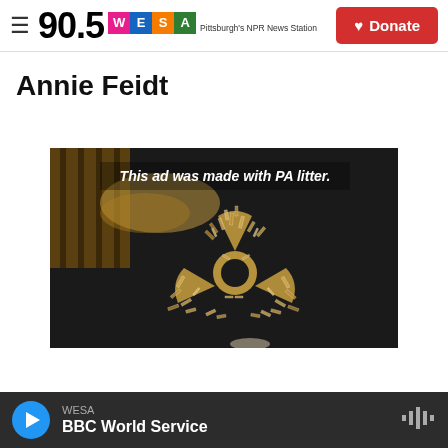90.5 WESA Pittsburgh's NPR News Station | Donate
Annie Feidt
[Figure (photo): A radioactive hazard symbol made from cigarette butts on a dark ground, with text overlay: 'This ad was made with PA litter.']
WESA | BBC World Service